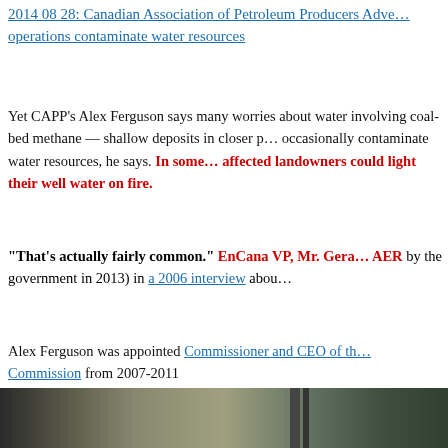2014 08 28: Canadian Association of Petroleum Producers Adve... operations contaminate water resources
Yet CAPP's Alex Ferguson says many worries about water involving coal-bed methane — shallow deposits in closer proximity to water — occasionally contaminate water resources, he says. In some cases, affected landowners could light their well water on fire.
"That's actually fairly common." EnCana VP, Mr. Gera... AER by the government in 2013) in a 2006 interview abou...
Alex Ferguson was appointed Commissioner and CEO of th... Commission from 2007-2011
[Figure (photo): Partial photo showing what appears to be industrial or mechanical equipment, cropped at the bottom of the page]